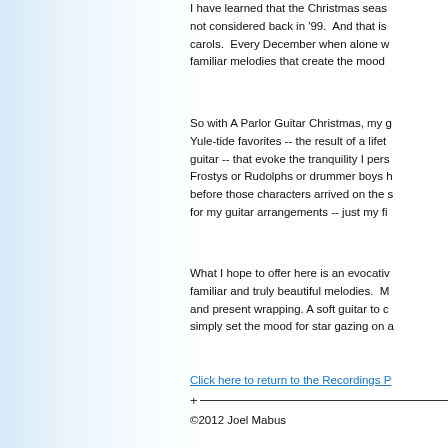I have learned that the Christmas season is not considered back in '99. And that is carols. Every December when alone w familiar melodies that create the mood
So with A Parlor Guitar Christmas, my g Yule-tide favorites -- the result of a lifet guitar -- that evoke the tranquility I pers Frostys or Rudolphs or drummer boys before those characters arrived on the s for my guitar arrangements -- just my fi
What I hope to offer here is an evocativ familiar and truly beautiful melodies. M and present wrapping. A soft guitar to c simply set the mood for star gazing on a
Click here to return to the Recordings P
©2012 Joel Mabus

All Rights Reserved